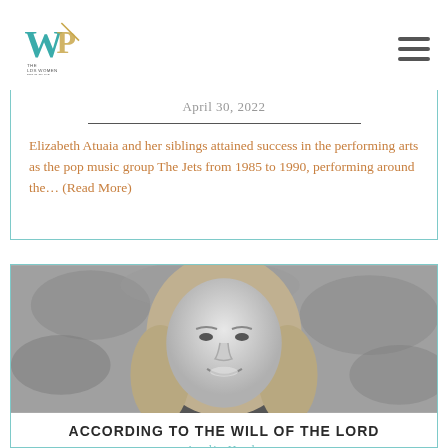The LDS Women Project
April 30, 2022
Elizabeth Atuaia and her siblings attained success in the performing arts as the pop music group The Jets from 1985 to 1990, performing around the... (Read More)
[Figure (photo): Black and white portrait photo of a smiling young woman with long straight hair, outdoors with a blurred natural background]
ACCORDING TO THE WILL OF THE LORD
Analia Hoole
March 18, 2022